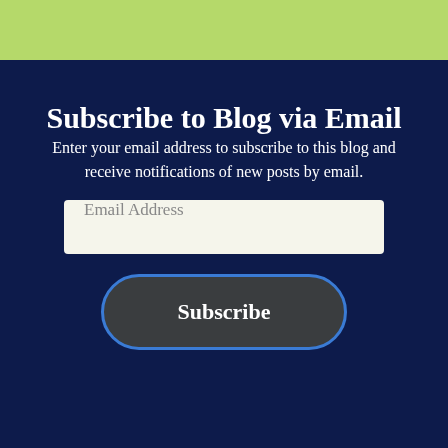Subscribe to Blog via Email
Enter your email address to subscribe to this blog and receive notifications of new posts by email.
Email Address
Subscribe